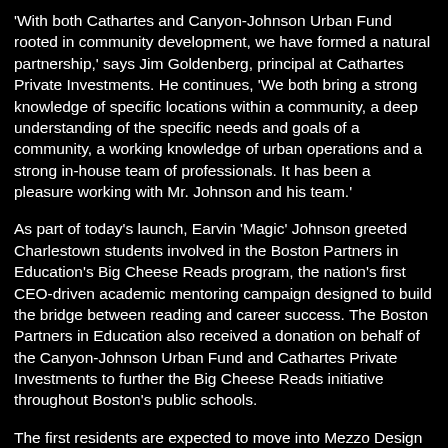'With both Cathartes and Canyon-Johnson Urban Fund rooted in community development, we have formed a natural partnership,' says Jim Goldenberg, principal at Cathartes Private Investments. He continues, 'We both bring a strong knowledge of specific locations within a community, a deep understanding of the specific needs and goals of a community, a working knowledge of urban operations and a strong in-house team of professionals. It has been a pleasure working with Mr. Johnson and his team.'
As part of today's launch, Earvin 'Magic' Johnson greeted Charlestown students involved in the Boston Partners in Education's Big Cheese Reads program, the nation's first CEO-driven academic mentoring campaign designed to build the bridge between reading and career success. The Boston Partners in Education also received a donation on behalf of the Canyon-Johnson Urban Fund and Cathartes Private Investments to further the Big Cheese Reads initiative throughout Boston's public schools.
The first residents are expected to move into Mezzo Design Lofts during the fourth quarter of 2007.
For more information on Mezzo Design Lofts, visit www.mezzodesignlofts.com or call the sales office at 617-